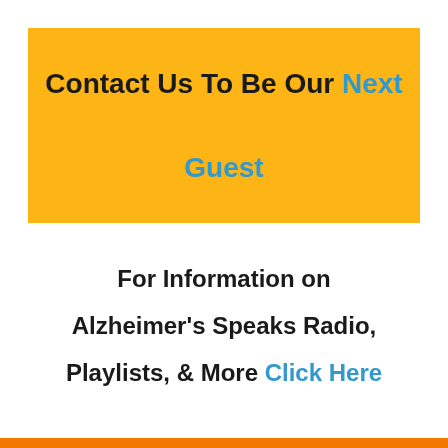Contact Us To Be Our Next Guest
For Information on Alzheimer's Speaks Radio, Playlists, & More Click Here